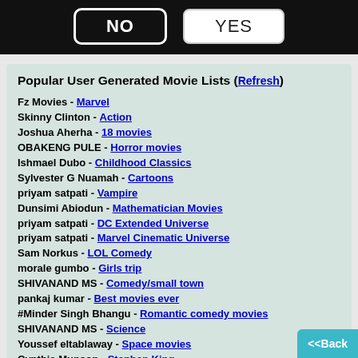[Figure (screenshot): Black bar with NO and YES buttons at top of screen]
Popular User Generated Movie Lists (Refresh)
Fz Movies - Marvel
Skinny Clinton - Action
Joshua Aherha - 18 movies
OBAKENG PULE - Horror movies
Ishmael Dubo - Childhood Classics
Sylvester G Nuamah - Cartoons
priyam satpati - Vampire
Dunsimi Abiodun - Mathematician Movies
priyam satpati - DC Extended Universe
priyam satpati - Marvel Cinematic Universe
Sam Norkus - LOL Comedy
morale gumbo - Girls trip
SHIVANAND MS - Comedy/small town
pankaj kumar - Best movies ever
#Minder Singh Bhangu - Romantic comedy movies
SHIVANAND MS - Science
Youssef eltablaway - Space movies
Cynthia Munson - Stephen King
Kristice1 movies - ... Do not enter